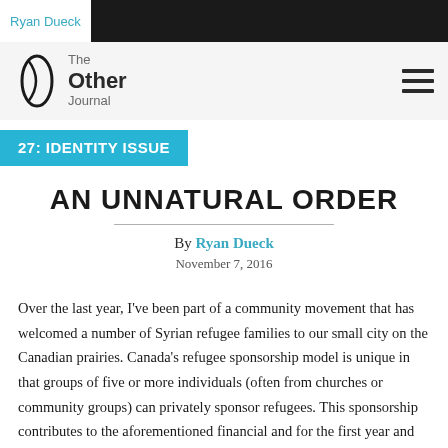Ryan Dueck
[Figure (logo): The Other Journal logo with oval shape icon and text 'The Other Journal']
27: IDENTITY ISSUE
AN UNNATURAL ORDER
By Ryan Dueck
November 7, 2016
Over the last year, I've been part of a community movement that has welcomed a number of Syrian refugee families to our small city on the Canadian prairies. Canada's refugee sponsorship model is unique in that groups of five or more individuals (often from churches or community groups) can privately sponsor refugees. This sponsorship contributes to the aforementioned financial and for the first year and